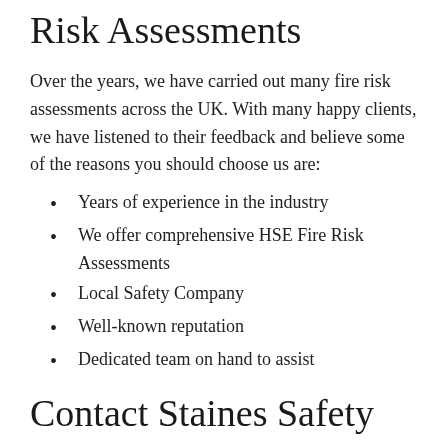Risk Assessments
Over the years, we have carried out many fire risk assessments across the UK. With many happy clients, we have listened to their feedback and believe some of the reasons you should choose us are:
Years of experience in the industry
We offer comprehensive HSE Fire Risk Assessments
Local Safety Company
Well-known reputation
Dedicated team on hand to assist
Contact Staines Safety